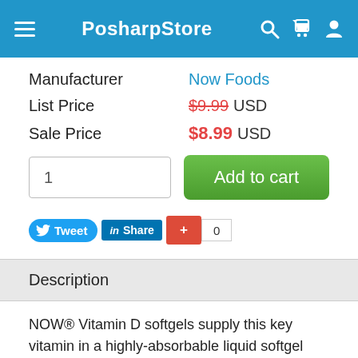PosharpStore
| Field | Value |
| --- | --- |
| Manufacturer | Now Foods |
| List Price | $9.99 USD |
| Sale Price | $8.99 USD |
[Figure (screenshot): Add to cart UI with quantity input (1) and green Add to cart button]
[Figure (screenshot): Social sharing buttons: Tweet, Share (LinkedIn), Google+ with count 0]
Description
NOW® Vitamin D softgels supply this key vitamin in a highly-absorbable liquid softgel form. Vitamin D is normally obtained from the diet or produced by the skin from the ultraviolet energy of the sun. However, it is not abundant in food. As more people avoid sun